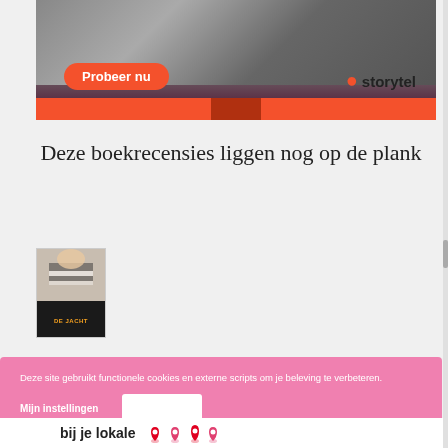[Figure (screenshot): Storytel advertisement banner showing a person in dark clothing with 'Probeer nu' orange button and Storytel logo with orange speech bubble icon, dark maroon background with orange bottom bar]
Deze boekrecensies liggen nog op de plank
[Figure (photo): Small book cover thumbnail for 'De Jacht' showing a person in striped top with dark bottom and orange text]
Deze site gebruikt functionele cookies en externe scripts om je beleving te verbeteren.
Mijn instellingen
bij je lokale